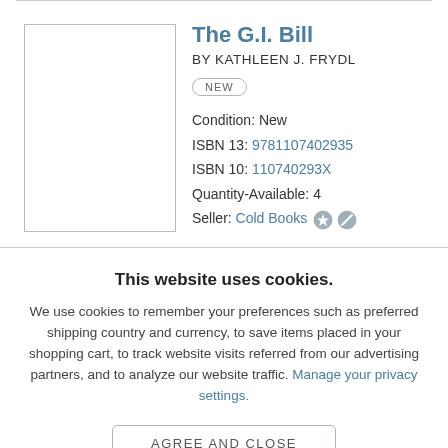[Figure (other): Book cover image placeholder (white rectangle with border)]
The G.I. Bill
BY KATHLEEN J. FRYDL
NEW
Condition:  New
ISBN 13:  9781107402935
ISBN 10:  110740293X
Quantity-Available:  4
Seller:  Cold Books
This website uses cookies.
We use cookies to remember your preferences such as preferred shipping country and currency, to save items placed in your shopping cart, to track website visits referred from our advertising partners, and to analyze our website traffic. Manage your privacy settings.
AGREE AND CLOSE